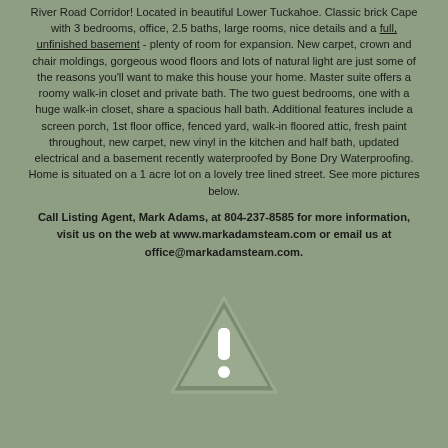River Road Corridor! Located in beautiful Lower Tuckahoe. Classic brick Cape with 3 bedrooms, office, 2.5 baths, large rooms, nice details and a full, unfinished basement - plenty of room for expansion. New carpet, crown and chair moldings, gorgeous wood floors and lots of natural light are just some of the reasons you'll want to make this house your home. Master suite offers a roomy walk-in closet and private bath. The two guest bedrooms, one with a huge walk-in closet, share a spacious hall bath. Additional features include a screen porch, 1st floor office, fenced yard, walk-in floored attic, fresh paint throughout, new carpet, new vinyl in the kitchen and half bath, updated electrical and a basement recently waterproofed by Bone Dry Waterproofing. Home is situated on a 1 acre lot on a lovely tree lined street. See more pictures below.
Call Listing Agent, Mark Adams, at 804-237-8585 for more information, visit us on the web at www.markadamsteam.com or email us at office@markadamsteam.com.
[Figure (other): Warning triangle icon with exclamation mark inside, gray colored]